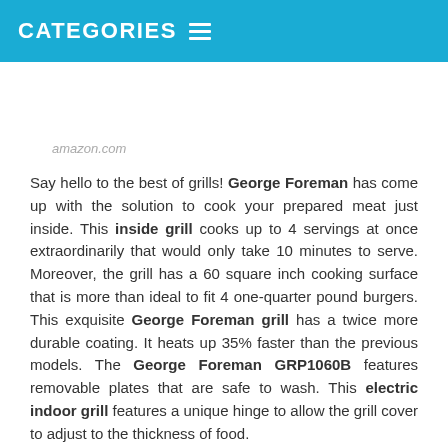CATEGORIES ☰
[Figure (other): Placeholder image area with amazon.com watermark text]
Say hello to the best of grills! George Foreman has come up with the solution to cook your prepared meat just inside. This inside grill cooks up to 4 servings at once extraordinarily that would only take 10 minutes to serve. Moreover, the grill has a 60 square inch cooking surface that is more than ideal to fit 4 one-quarter pound burgers. This exquisite George Foreman grill has a twice more durable coating. It heats up 35% faster than the previous models. The George Foreman GRP1060B features removable plates that are safe to wash. This electric indoor grill features a unique hinge to allow the grill cover to adjust to the thickness of food.